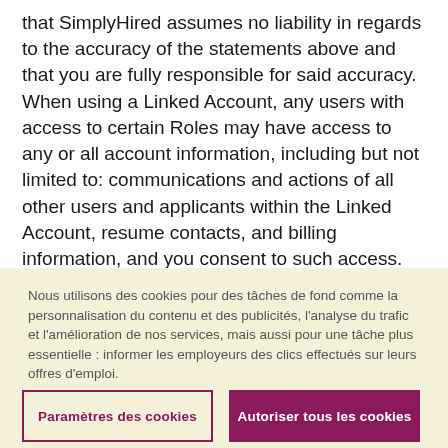that SimplyHired assumes no liability in regards to the accuracy of the statements above and that you are fully responsible for said accuracy. When using a Linked Account, any users with access to certain Roles may have access to any or all account information, including but not limited to: communications and actions of all other users and applicants within the Linked Account, resume contacts, and billing information, and you consent to such access. When using a Linked Account, any users with access to certain Roles may also have the ability to purchase
Nous utilisons des cookies pour des tâches de fond comme la personnalisation du contenu et des publicités, l'analyse du trafic et l'amélioration de nos services, mais aussi pour une tâche plus essentielle : informer les employeurs des clics effectués sur leurs offres d'emploi.
Paramètres des cookies
Autoriser tous les cookies